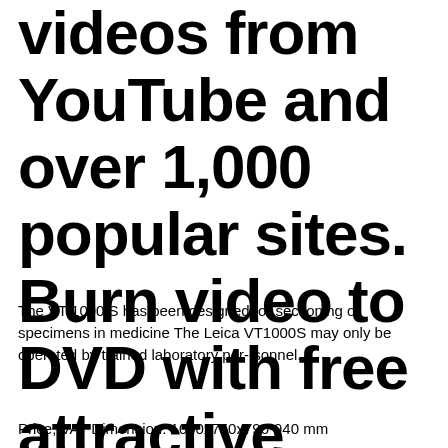videos from YouTube and over 1,000 popular sites. Burn video to DVD with free attractive templates.
The VT 1000 S has been designed for sectioning of specimens in medicine The Leica VT1000S may only be operated by trained laboratory per- sonnel.
Price, VAT Dimension: 1000x750x790-940 mm